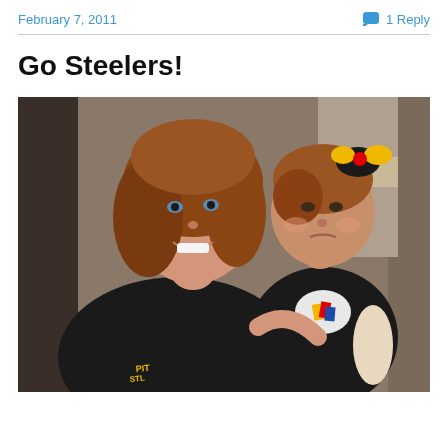February 7, 2011
1 Reply
Go Steelers!
[Figure (photo): Woman smiling holding a baby/toddler, both wearing Pittsburgh Steelers black jerseys. The toddler has a Steelers bow in her hair. Indoor setting.]